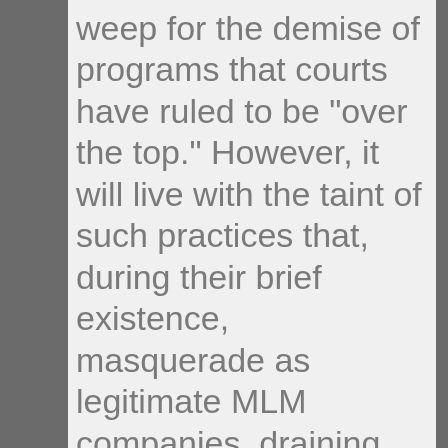weep for the demise of programs that courts have ruled to be "over the top." However, it will live with the taint of such practices that, during their brief existence, masquerade as legitimate MLM companies, draining good recruitment candidates, but more importantly tainting future recruitment opportunities because of the "bad taste" left with the public.
But more important to the industry, such cases, often inadvertently,